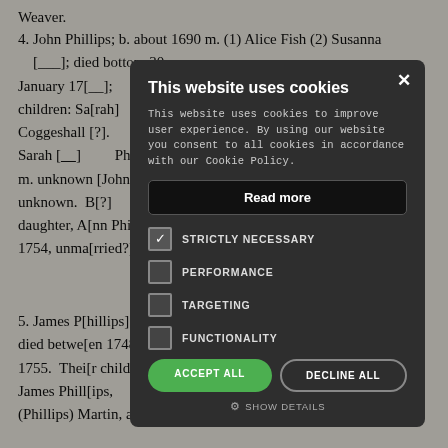Weaver.
4. John Phillips; b. about 1690 m. (1) Alice Fish (2) Susanna [___]; died bottom 30 January 17[__]; children: Sa[rah] Coggeshall [?]. Sarah [___] Phillips; b. about 17[??] m. unknown [John?] Ann [She-who's] daughter, A[nn Phillips b.] 1754, unma[rried?]
5. James P[hillips]; b. about 1[6]95; died betwe[en 1748 and] 1755. Thei[r children:] James Phill[ips, ...] (Phillips) Martin, and Ann Phillips.
[Figure (screenshot): Cookie consent dialog overlay with dark background. Title: 'This website uses cookies'. Body text explains cookies policy. Buttons: 'Read more', 'ACCEPT ALL', 'DECLINE ALL'. Checkboxes: STRICTLY NECESSARY (checked), PERFORMANCE (unchecked), TARGETING (unchecked), FUNCTIONALITY (unchecked). Show Details link at bottom.]